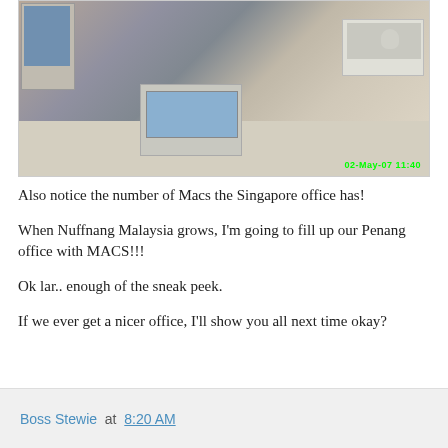[Figure (photo): Photo of an office desk with multiple Mac computers including laptops and desktop iMacs, people working in background, timestamp '02-May-07 11:40' in green in bottom right corner]
Also notice the number of Macs the Singapore office has!
When Nuffnang Malaysia grows, I'm going to fill up our Penang office with MACS!!!
Ok lar.. enough of the sneak peek.
If we ever get a nicer office, I'll show you all next time okay?
Boss Stewie at 8:20 AM